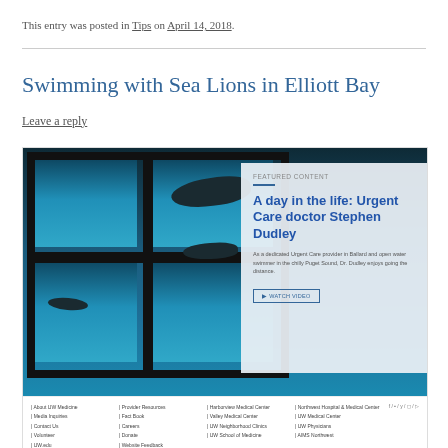This entry was posted in Tips on April 14, 2018.
Swimming with Sea Lions in Elliott Bay
Leave a reply
[Figure (screenshot): Screenshot of UW Medicine website showing 'A day in the life: Urgent Care doctor Stephen Dudley' article with underwater sea lions background image and website footer navigation.]